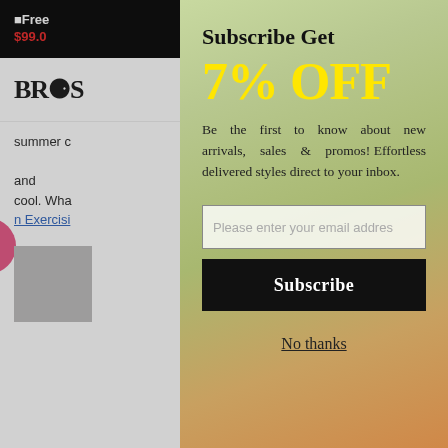■Free ... $99.0 ... s. Only ...ore at
[Figure (screenshot): Website navigation bar with logo 'BROS' and cart/menu icons]
summer c...dry and cool. Wha...ear When n Exercisi...on Linen ...p | Casual ...on
Subscribe Get
7% OFF
Be the first to know about new arrivals, sales & promos! Effortless delivered styles direct to your inbox.
Please enter your email addres
Subscribe
No thanks